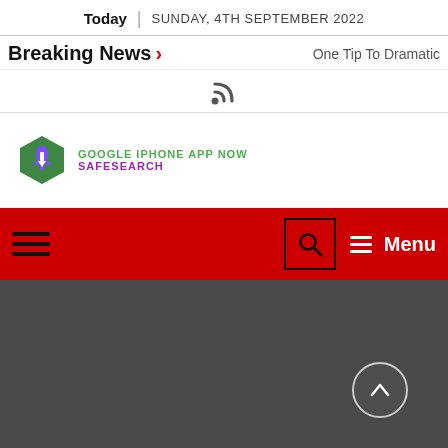Today | SUNDAY, 4TH SEPTEMBER 2022
Breaking News > One Tip To Dramatic
[Figure (other): RSS feed icon]
[Figure (logo): Google iPhone App Now SafeSearch logo with green hexagon icon]
[Figure (screenshot): Red navigation bar with hamburger menu on left, search box and Menu label with lines on right]
[Figure (other): Dark gray content area with scroll-to-top circular arrow button at bottom right]